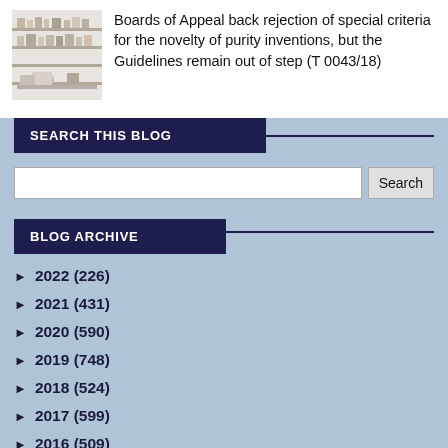[Figure (photo): Laboratory or office scene with equipment and papers on shelves]
Boards of Appeal back rejection of special criteria for the novelty of purity inventions, but the Guidelines remain out of step (T 0043/18)
SEARCH THIS BLOG
BLOG ARCHIVE
► 2022 (226)
► 2021 (431)
► 2020 (590)
► 2019 (748)
► 2018 (524)
► 2017 (599)
► 2016 (509)